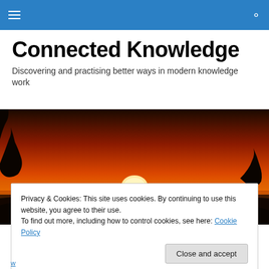Connected Knowledge — site header with menu and search icons
Connected Knowledge
Discovering and practising better ways in modern knowledge work
[Figure (photo): Wide panoramic sunset photograph showing a large orange sun on the horizon with silhouetted trees against a vivid red-orange sky.]
Privacy & Cookies: This site uses cookies. By continuing to use this website, you agree to their use.
To find out more, including how to control cookies, see here: Cookie Policy
[Close and accept]